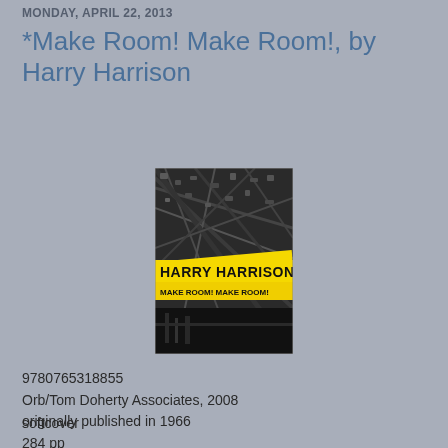MONDAY, APRIL 22, 2013
*Make Room! Make Room!, by Harry Harrison
[Figure (photo): Book cover of 'Make Room! Make Room!' by Harry Harrison. Black and white aerial photo of a dense city crowd, with a yellow diagonal banner reading 'HARRY HARRISON' and below it 'MAKE ROOM! MAKE ROOM!' in black text.]
9780765318855
Orb/Tom Doherty Associates, 2008
originally published in 1966
284 pp
softcover